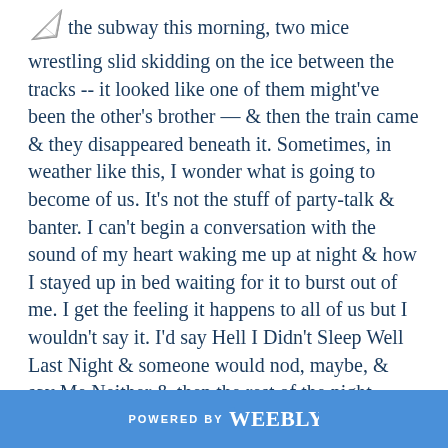the subway this morning, two mice wrestling slid skidding on the ice between the tracks -- it looked like one of them might've been the other's brother — & then the train came & they disappeared beneath it. Sometimes, in weather like this, I wonder what is going to become of us. It's not the stuff of party-talk & banter. I can't begin a conversation with the sound of my heart waking me up at night & how I stayed up in bed waiting for it to burst out of me. I get the feeling it happens to all of us but I wouldn't say it. I'd say Hell I Didn't Sleep Well Last Night & someone would nod, maybe, & say Me Neither & then the rest of the night would carry on.
POWERED BY weebly